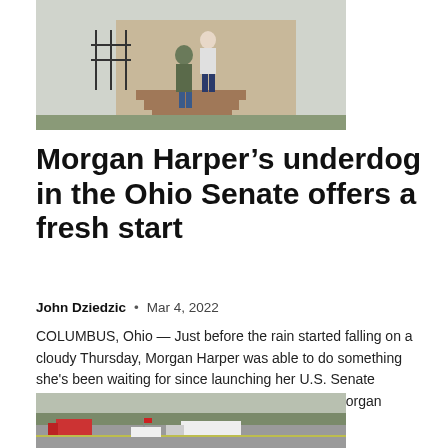[Figure (photo): Two people standing on steps of a brick building with an iron fence, outdoors on a grey day]
Morgan Harper’s underdog in the Ohio Senate offers a fresh start
John Dziedzic • Mar 4, 2022
COLUMBUS, Ohio — Just before the rain started falling on a cloudy Thursday, Morgan Harper was able to do something she’s been waiting for since launching her U.S. Senate campaign in August. What do you want to know Morgan Harper, a…
[Figure (photo): Highway scene with trucks and vehicles on a road with bare trees in the background]